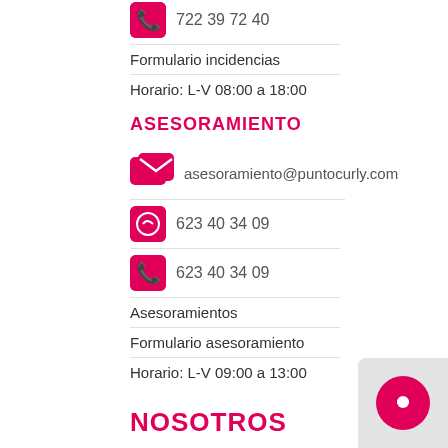722 39 72 40
Formulario incidencias
Horario: L-V 08:00 a 18:00
ASESORAMIENTO
asesoramiento@puntocurly.com
623 40 34 09
623 40 34 09
Asesoramientos
Formulario asesoramiento
Horario: L-V 09:00 a 13:00
NOSOTROS
FAQ'S
Blog